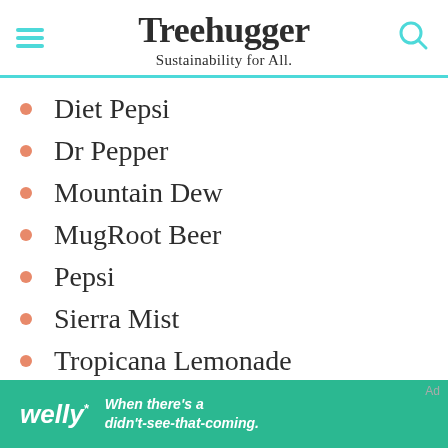Treehugger — Sustainability for All.
Diet Pepsi
Dr Pepper
Mountain Dew
MugRoot Beer
Pepsi
Sierra Mist
Tropicana Lemonade
Unsweetened Iced Tea
[Figure (infographic): Welly advertisement banner: green background with italic welly* logo and text 'When there's a didn't-see-that-coming.']